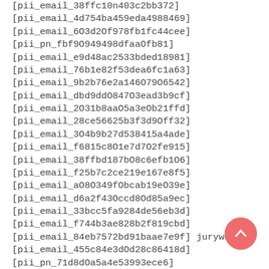[pii_email_38ffc10n403c2bb372]
[pii_email_4d754ba459eda4988469]
[pii_email_6O3d2Of978fb1fc44cee]
[pii_pn_fbf9O949498dfaaOfb81]
[pii_email_e9d48ac2533bded18981]
[pii_email_76b1e82f53dea6fc1a63]
[pii_email_9b2b76e2a146O79O6542]
[pii_email_dbd9ddO847O3ead3b9cf]
[pii_email_2O31b8aaO5a3eOb21ffd]
[pii_email_28ce56625b3f3d9Off32]
[pii_email_3O4b9b27d538415a4ade]
[pii_email_f6815c8O1e7d7O2fe915]
[pii_email_38ffbd187bO8c6efb1O6]
[pii_email_f25b7c2ce219e167e8f5]
[pii_email_aO8O349fObcab19eO39e]
[pii_email_d6a2f43Occd8Od85a9ec]
[pii_email_33bcc5fa9284de56eb3d]
[pii_email_f744b3ae828b2f819cbd]
[pii_email_84eb7572bd91baae7e9f] juryweb
[pii_email_455c84e3dOd28c86418d]
[pii_pn_71d8dOa5a4e53993ece6]